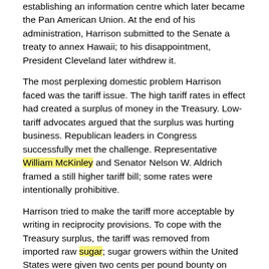establishing an information centre which later became the Pan American Union. At the end of his administration, Harrison submitted to the Senate a treaty to annex Hawaii; to his disappointment, President Cleveland later withdrew it.
The most perplexing domestic problem Harrison faced was the tariff issue. The high tariff rates in effect had created a surplus of money in the Treasury. Low-tariff advocates argued that the surplus was hurting business. Republican leaders in Congress successfully met the challenge. Representative William McKinley and Senator Nelson W. Aldrich framed a still higher tariff bill; some rates were intentionally prohibitive.
Harrison tried to make the tariff more acceptable by writing in reciprocity provisions. To cope with the Treasury surplus, the tariff was removed from imported raw sugar; sugar growers within the United States were given two cents per pound bounty on their production.
Long before the end of the Harrison Administration, the Treasury surplus had evaporated and prosperity seemed about to disappear. Congressional elections in 1890 went against the Republicans, and party leaders decided to abandon President Harrison, although he had cooperated with Congress on party legislation. Nevertheless, his party renominated him in 1892, but he was defeated by Cleveland. Just 2 weeks earlier, on October 25, 1892, Harrison's wife, Caroline died after a long battle with tuberculosis.
Significant events